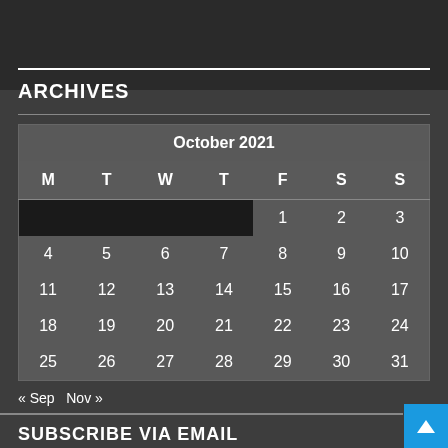ARCHIVES
| M | T | W | T | F | S | S |
| --- | --- | --- | --- | --- | --- | --- |
|  |  |  |  | 1 | 2 | 3 |
| 4 | 5 | 6 | 7 | 8 | 9 | 10 |
| 11 | 12 | 13 | 14 | 15 | 16 | 17 |
| 18 | 19 | 20 | 21 | 22 | 23 | 24 |
| 25 | 26 | 27 | 28 | 29 | 30 | 31 |
« Sep  Nov »
SUBSCRIBE VIA EMAIL